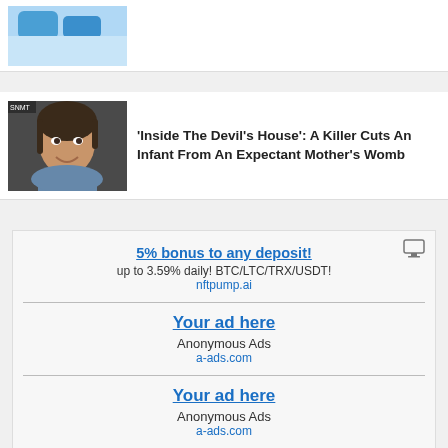[Figure (photo): Partial view of blue objects, top card image cropped at top of page]
[Figure (photo): Portrait photo of a smiling woman with dark hair]
'Inside The Devil's House': A Killer Cuts An Infant From An Expectant Mother's Womb
[Figure (infographic): Advertisement: 5% bonus to any deposit! up to 3.59% daily! BTC/LTC/TRX/USDT! nftpump.ai]
5% bonus to any deposit!
up to 3.59% daily! BTC/LTC/TRX/USDT!
nftpump.ai
Your ad here
Anonymous Ads
a-ads.com
Your ad here
Anonymous Ads
a-ads.com